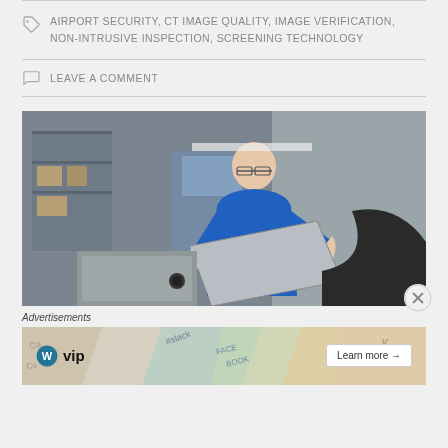AIRPORT SECURITY, CT IMAGE QUALITY, IMAGE VERIFICATION, NON-INTRUSIVE INSPECTION, SCREENING TECHNOLOGY
LEAVE A COMMENT
[Figure (photo): Man in blue polo shirt holding a large gray panel/cover in an industrial warehouse setting with equipment and shelving in the background]
Advertisements
[Figure (other): WordPress VIP advertisement banner with colorful background featuring social media brand names and a 'Learn more' button]